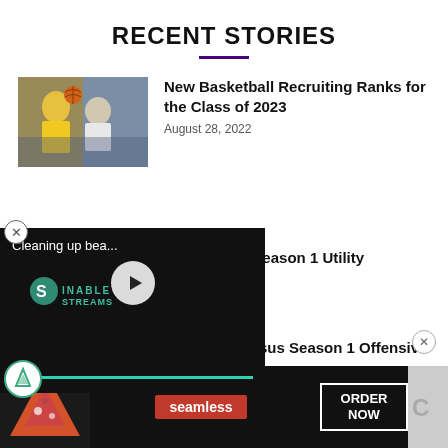RECENT STORIES
[Figure (photo): Basketball players, one in yellow jersey shooting, another in white defending]
New Basketball Recruiting Ranks for the Class of 2023
August 28, 2022
[Figure (screenshot): Video player overlay showing 'Cleaning up bea...' with Sustainable Streams logo and play button]
MultiVersus Season 1 Utility
22
[Figure (photo): Partially visible thumbnail for Best MultiVersus article]
Best MultiVersus Season 1 Offensive Perks
[Figure (screenshot): Seamless food delivery advertisement showing pizza with ORDER NOW button]